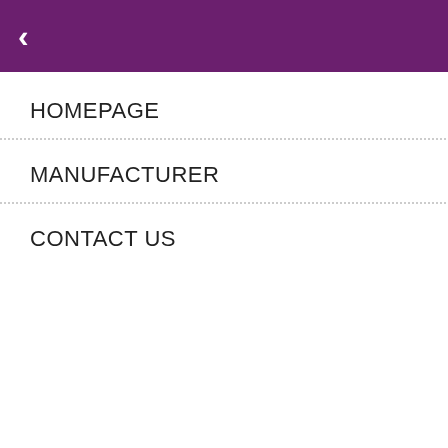CLOSE navigation bar with back arrow
HOMEPAGE
MANUFACTURER
CONTACT US
The Richest Reward Portal of the World
[Figure (illustration): Decorative row of diamond outlines and chevron V-shapes on hatched background]
Home / Personal Care & Health /
Hot Water Bottles & Scales /
Biggdesign Pomegranate Hot Water Bottle
[Figure (photo): Product image area (partially visible at bottom of page)]